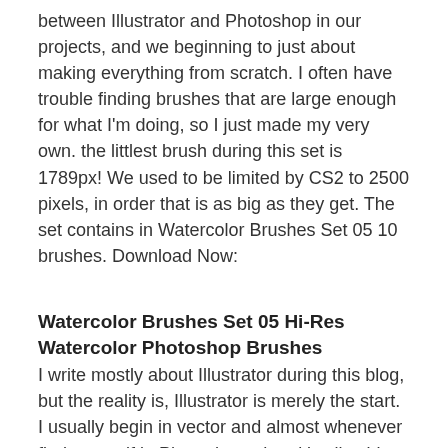between Illustrator and Photoshop in our projects, and we beginning to just about making everything from scratch. I often have trouble finding brushes that are large enough for what I'm doing, so I just made my very own. the littlest brush during this set is 1789px! We used to be limited by CS2 to 2500 pixels, in order that is as big as they get. The set contains in Watercolor Brushes Set 05 10 brushes. Download Now:
Watercolor Brushes Set 05 Hi-Res Watercolor Photoshop Brushes
I write mostly about Illustrator during this blog, but the reality is, Illustrator is merely the start. I usually begin in vector and almost whenever find yourself in Photoshop when it's all said and done. Combining the vector shapes I create with the facility of some good old Photoshopping is typically how I reach a finished piece of labor. We prefer to require brushes like these and add backgrounds and overlays to my shapes and Photoshop is that thanks to